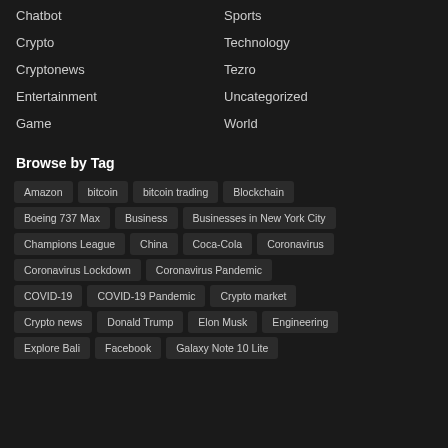Chatbot
Sports
Crypto
Technology
Cryptonews
Tezro
Entertainment
Uncategorized
Game
World
Browse by Tag
Amazon
bitcoin
bitcoin trading
Blockchain
Boeing 737 Max
Business
Businesses in New York City
Champions League
China
Coca-Cola
Coronavirus
Coronavirus Lockdown
Coronavirus Pandemic
COVID-19
COVID-19 Pandemic
Crypto market
Crypto news
Donald Trump
Elon Musk
Engineering
Explore Bali
Facebook
Galaxy Note 10 Lite